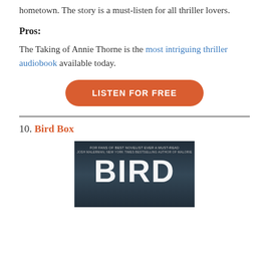hometown. The story is a must-listen for all thriller lovers.
Pros:
The Taking of Annie Thorne is the most intriguing thriller audiobook available today.
[Figure (other): Orange rounded button with white text reading 'LISTEN FOR FREE']
10. Bird Box
[Figure (photo): Book cover of Bird Box showing dark atmospheric background with white bold text 'BIRD' visible]